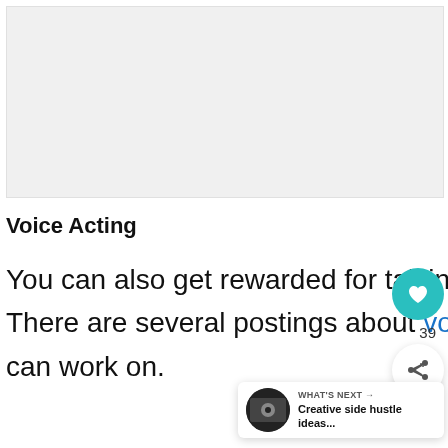[Figure (other): Gray placeholder image area at top of page]
Voice Acting
You can also get rewarded for talking in different characters. There are several postings about voice-acting jobs that you can work on.